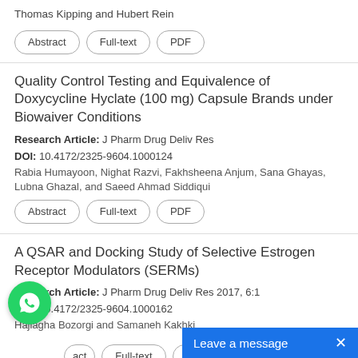Thomas Kipping and Hubert Rein
Abstract | Full-text | PDF
Quality Control Testing and Equivalence of Doxycycline Hyclate (100 mg) Capsule Brands under Biowaiver Conditions
Research Article: J Pharm Drug Deliv Res
DOI: 10.4172/2325-9604.1000124
Rabia Humayoon, Nighat Razvi, Fakhsheena Anjum, Sana Ghayas, Lubna Ghazal, and Saeed Ahmad Siddiqui
Abstract | Full-text | PDF
A QSAR and Docking Study of Selective Estrogen Receptor Modulators (SERMs)
Research Article: J Pharm Drug Deliv Res 2017, 6:1
DOI: 10.4172/2325-9604.1000162
Hajiagha Bozorgi and Samaneh Kakhki
Abstract | Full-text | PDF